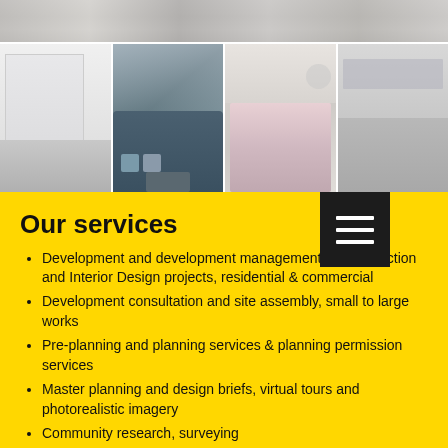[Figure (photo): Top horizontal strip showing marble/tile floor detail in grey tones]
[Figure (photo): Row of four interior design room photos: modern bedroom with white wardrobe, living room with blue sofa and cushions, bedroom with pink bedding, and kitchen/dining area]
Our services
Development and development management of construction and Interior Design projects, residential & commercial
Development consultation and site assembly, small to large works
Pre-planning and planning services & planning permission services
Master planning and design briefs, virtual tours and photorealistic imagery
Community research, surveying